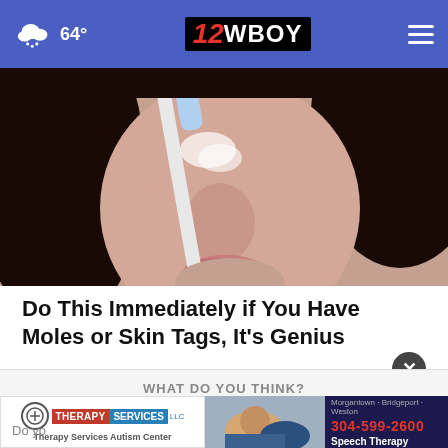64° | 12WBOY
[Figure (photo): Close-up photo of a woman holding a toothbrush near her nose, dark hair, light skin]
Do This Immediately if You Have Moles or Skin Tags, It's Genius
Smart Life Reports
[Figure (screenshot): Advertisement overlay with 'WHAT DO YOU THINK?' text, Therapy Services LLC ad, and a photo of a child with a therapist. Phone number 304-599-2600, cities Morgantown, Bridgeport, Weston. Speech Therapy service listed.]
Do yo